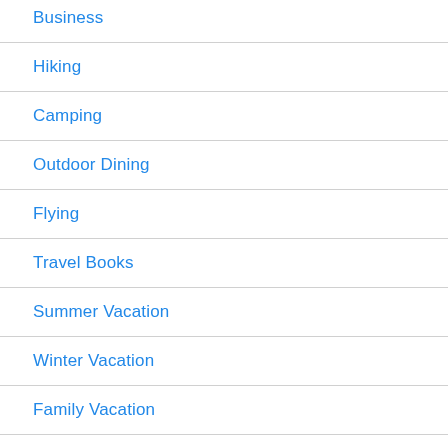Business
Hiking
Camping
Outdoor Dining
Flying
Travel Books
Summer Vacation
Winter Vacation
Family Vacation
Honeymoon